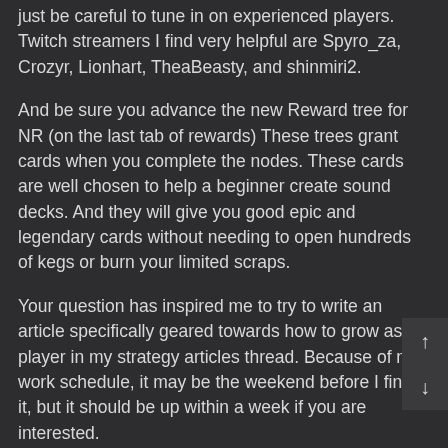just be careful to tune in on experienced players. Twitch streamers I find very helpful are Spyro_za, Crozyr, Lionhart, TheaBeasty, and shinmiri2.
And be sure you advance the new Reward tree for NR (on the last tab of rewards) These trees grant cards when you complete the nodes. These cards are well chosen to help a beginner create sound decks. And they will give you good epic and legendary cards without needing to open hundreds of kegs or burn your limited scraps.
Your question has inspired me to try to write an article specifically geared towards how to grow as a player in my strategy articles thread. Because of my work schedule, it may be the weekend before I finish it, but it should be up within a week if you are interested.